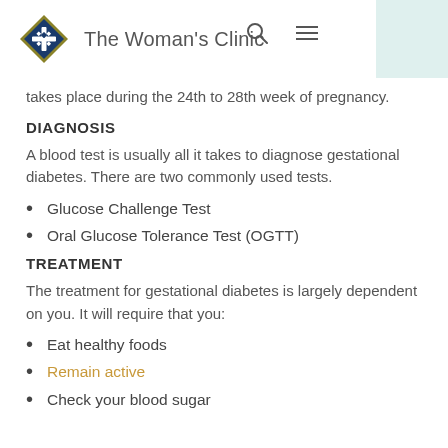The Woman's Clinic
takes place during the 24th to 28th week of pregnancy.
DIAGNOSIS
A blood test is usually all it takes to diagnose gestational diabetes. There are two commonly used tests.
Glucose Challenge Test
Oral Glucose Tolerance Test (OGTT)
TREATMENT
The treatment for gestational diabetes is largely dependent on you. It will require that you:
Eat healthy foods
Remain active
Check your blood sugar